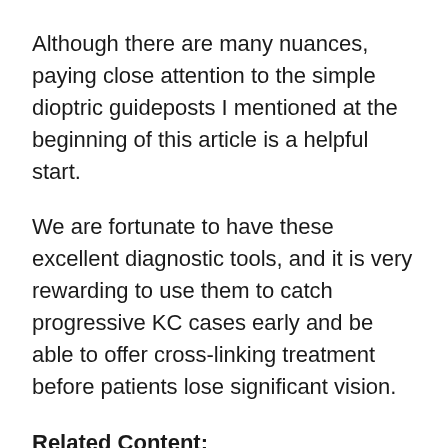Although there are many nuances, paying close attention to the simple dioptric guideposts I mentioned at the beginning of this article is a helpful start.
We are fortunate to have these excellent diagnostic tools, and it is very rewarding to use them to catch progressive KC cases early and be able to offer cross-linking treatment before patients lose significant vision.
Related Content:
"Open Your Eyes" goes down under
Contact lens regimen crucial in removing coronavirus traces